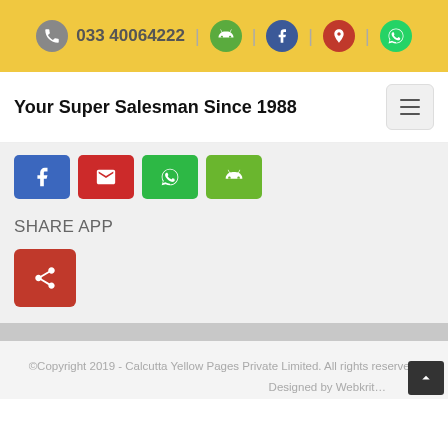033 40064222
Your Super Salesman Since 1988
[Figure (screenshot): Row of four colored share/social buttons: blue Facebook, red email, green WhatsApp, lime-green Android]
SHARE APP
[Figure (screenshot): Red square share button with share icon]
©Copyright 2019 - Calcutta Yellow Pages Private Limited. All rights reserved.
Designed by Webkrit…